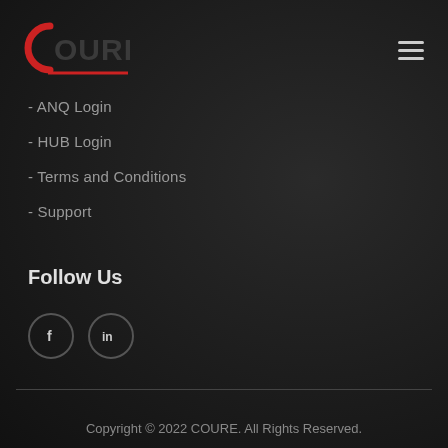[Figure (logo): COURE company logo with red C arc and dark grey lettering, red underline]
[Figure (other): Hamburger menu icon with three horizontal lines]
- ANQ Login
- HUB Login
- Terms and Conditions
- Support
Follow Us
[Figure (other): Social media icons: Facebook (f) and LinkedIn (in) in circular borders]
Copyright © 2022 COURE. All Rights Reserved.